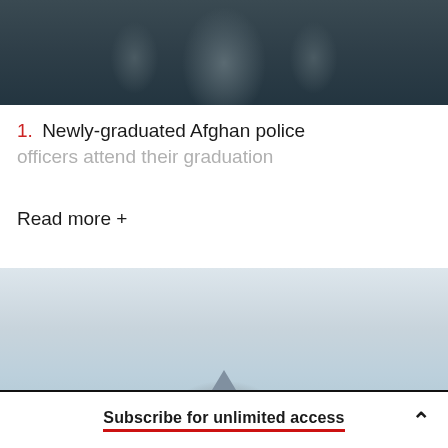[Figure (photo): Top portion of photo showing newly-graduated Afghan police officers in uniform, partially cropped]
1. Newly-graduated Afghan police officers attend their graduation
Read more +
[Figure (photo): Second photo showing a light-toned landscape, partially visible, cut off by page boundary]
Subscribe for unlimited access